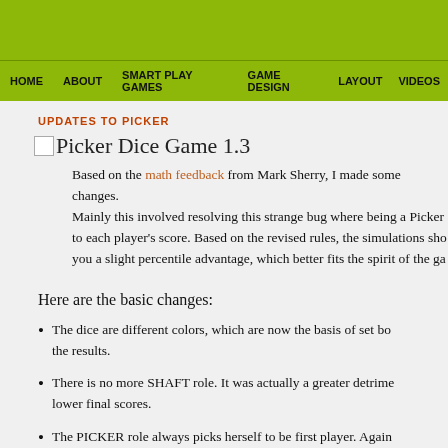HOME   ABOUT   SMART PLAY GAMES   GAME DESIGN   LAYOUT   VIDEOS
UPDATES TO PICKER
Picker Dice Game 1.3
Based on the math feedback from Mark Sherry, I made some changes. Mainly this involved resolving this strange bug where being a Picker to each player's score. Based on the revised rules, the simulations sho you a slight percentile advantage, which better fits the spirit of the ga
Here are the basic changes:
The dice are different colors, which are now the basis of set bo the results.
There is no more SHAFT role. It was actually a greater detrime lower final scores.
The PICKER role always picks herself to be first player. Again anti-picker bug a bit and streamlined the rules.